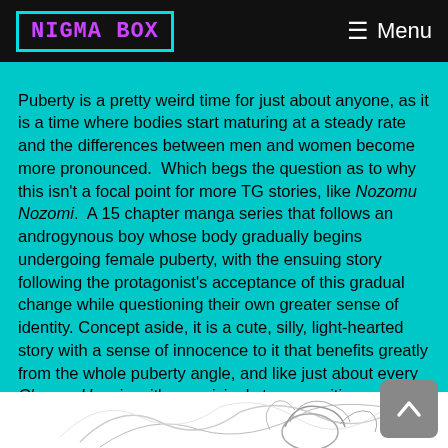NIGMA BOX  ≡ Menu
Puberty is a pretty weird time for just about anyone, as it is a time where bodies start maturing at a steady rate and the differences between men and women become more pronounced.  Which begs the question as to why this isn't a focal point for more TG stories, like Nozomu Nozomi.  A 15 chapter manga series that follows an androgynous boy whose body gradually begins undergoing female puberty, with the ensuing story following the protagonist's acceptance of this gradual change while questioning their own greater sense of identity. Concept aside, it is a cute, silly, light-hearted story with a sense of innocence to it that benefits greatly from the whole puberty angle, and like just about every Change H series, it's surprisingly trans positive.
[Figure (illustration): Partial view of a manga-style illustration at the bottom of the page, showing a character with flowing hair, drawn in black and white line art style.]